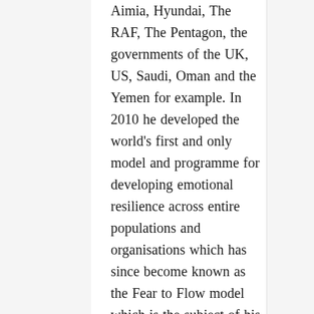Aimia, Hyundai, The RAF, The Pentagon, the governments of the UK, US, Saudi, Oman and the Yemen for example. In 2010 he developed the world's first and only model and programme for developing emotional resilience across entire populations and organisations which has since become known as the Fear to Flow model which is the subject of his next book. In 2012 he drove a 1973 VW across six countries in Southern